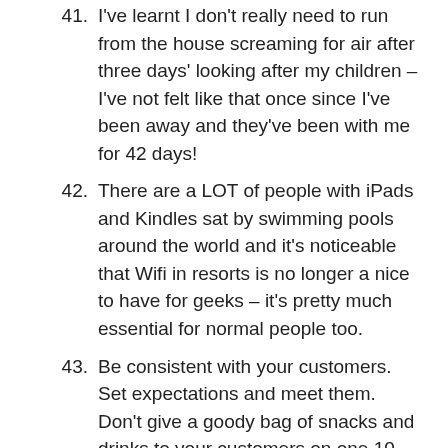41. I've learnt I don't really need to run from the house screaming for air after three days' looking after my children – I've not felt like that once since I've been away and they've been with me for 42 days!
42. There are a LOT of people with iPads and Kindles sat by swimming pools around the world and it's noticeable that Wifi in resorts is no longer a nice to have for geeks – it's pretty much essential for normal people too.
43. Be consistent with your customers. Set expectations and meet them. Don't give a goody bag of snacks and drinks to your customers on one 10 hour flight and not